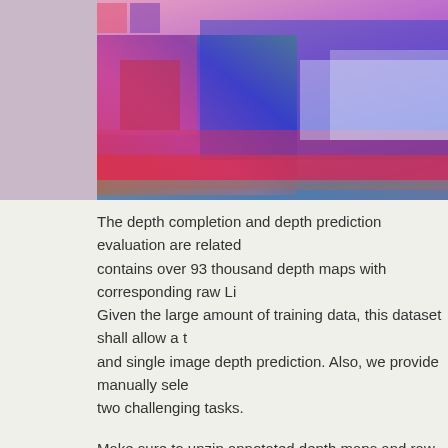[Figure (photo): Colorful false-color LiDaR depth map image strip showing a street scene with overlaid depth/intensity data in red, blue, green, and magenta tones.]
The depth completion and depth prediction evaluation are related contains over 93 thousand depth maps with corresponding raw Li Given the large amount of training data, this dataset shall allow a t and single image depth prediction. Also, we provide manually sele two challenging tasks.
Make sure to unzip annotated depth maps and raw LiDaR scans i structure. The structure of all provided depth maps is aligned with or other provided information.
Download annotated depth maps data set (14 GB)
Download projected raw LiDaR scans data set (5 GB)
Download manually selected validation and test data sets (2
Download development kit (48 K)
Note: On 12.04.2018 we have fixed a small error in the file data_c